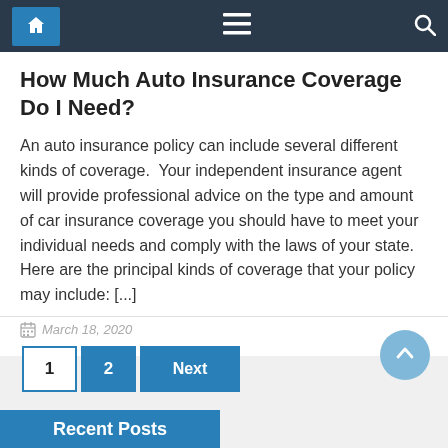Navigation bar with home, menu, and search icons
How Much Auto Insurance Coverage Do I Need?
An auto insurance policy can include several different kinds of coverage.  Your independent insurance agent will provide professional advice on the type and amount of car insurance coverage you should have to meet your individual needs and comply with the laws of your state.  Here are the principal kinds of coverage that your policy may include: [...]
March 18, 2020
1  2  Next
Recent Posts